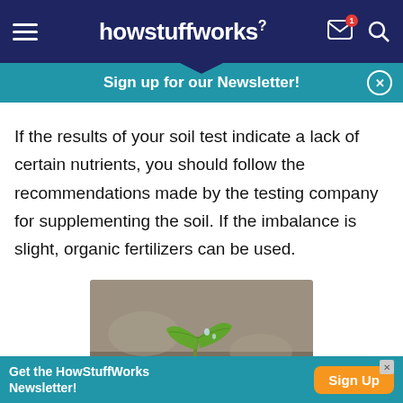howstuffworks
Sign up for our Newsletter!
If the results of your soil test indicate a lack of certain nutrients, you should follow the recommendations made by the testing company for supplementing the soil. If the imbalance is slight, organic fertilizers can be used.
[Figure (photo): Close-up photo of a small green seedling plant sprout emerging from soil]
Get the HowStuffWorks Newsletter!